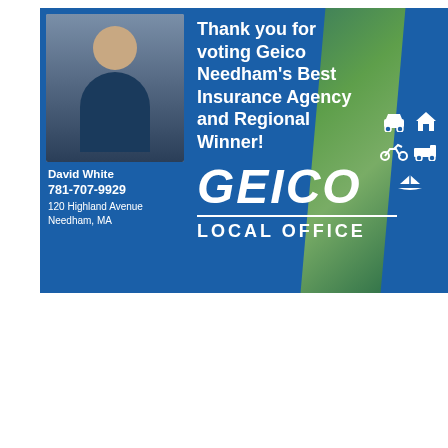[Figure (advertisement): GEICO Local Office advertisement banner featuring agent David White. Blue background with GEICO logo, text 'Thank you for voting Geico Needham's Best Insurance Agency and Regional Winner!', contact info: 781-707-9929, 120 Highland Avenue, Needham, MA. Icons for car, home, motorcycle, RV, and boat insurance shown on right side. Gecko tail decorative element visible.]